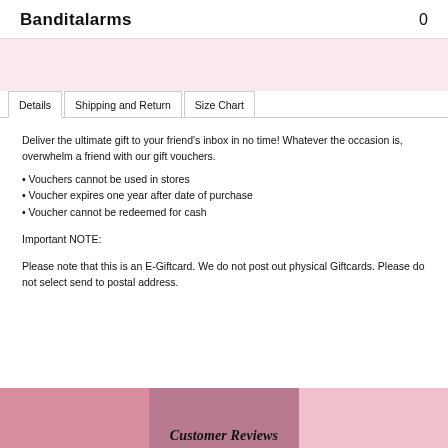Banditalarms  0
Details  Shipping and Return  Size Chart
Deliver the ultimate gift to your friend’s inbox in no time! Whatever the occasion is, overwhelm a friend with our gift vouchers.
• Vouchers cannot be used in stores
• Voucher expires one year after date of purchase
• Voucher cannot be redeemed for cash
Important NOTE:
Please note that this is an E-Giftcard. We do not post out physical Giftcards. Please do not select send to postal address.
Customer Reviews